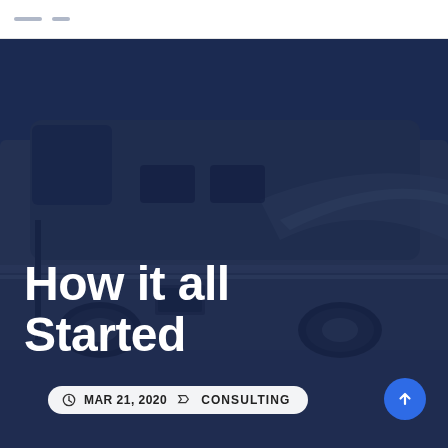[Figure (photo): A large luxury RV/motorcoach bus parked in a lot, photographed from the side, with a dark navy blue overlay over the image.]
How it all Started
MAR 21, 2020   CONSULTING